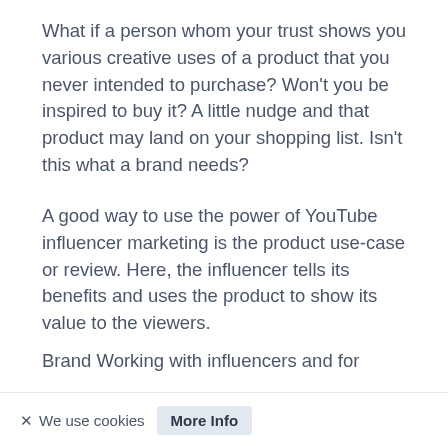What if a person whom your trust shows you various creative uses of a product that you never intended to purchase? Won't you be inspired to buy it? A little nudge and that product may land on your shopping list. Isn't this what a brand needs?
A good way to use the power of YouTube influencer marketing is the product use-case or review. Here, the influencer tells its benefits and uses the product to show its value to the viewers.
Brand Working with influencers and for...
× We use cookies  More Info